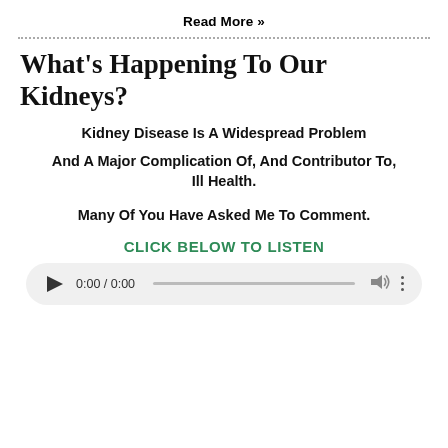Read More »
What's Happening To Our Kidneys?
Kidney Disease Is A Widespread Problem
And A Major Complication Of, And Contributor To, Ill Health.
Many Of You Have Asked Me To Comment.
CLICK BELOW TO LISTEN
[Figure (other): Audio player widget showing play button, time 0:00 / 0:00, progress bar, volume icon, and options icon]